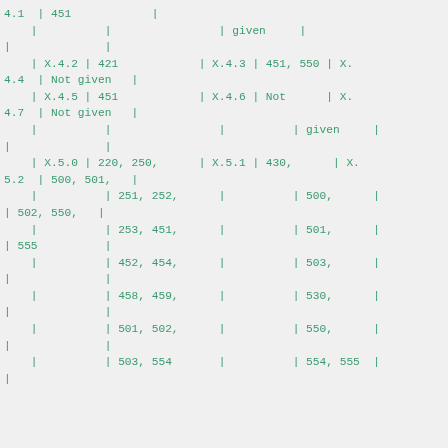4.1  | 451            |
    |          |                | given     |
|              |
    | X.4.2 | 421            | X.4.3 | 451, 550 | X.
4.4  | Not given   |
    | X.4.5 | 451            | X.4.6 | Not      | X.
4.7  | Not given   |
    |          |                |          | given     |
|              |
    | X.5.0 | 220, 250,      | X.5.1 | 430,      | X.
5.2  | 500, 501,   |
    |          | 251, 252,      |          | 500,      |
| 502, 550,   |
    |          | 253, 451,      |          | 501,      |
| 555          |
    |          | 452, 454,      |          | 503,      |
|              |
    |          | 458, 459,      |          | 530,      |
|              |
    |          | 501, 502,      |          | 550,      |
|              |
    |          | 503, 554       |          | 554, 555  |
|